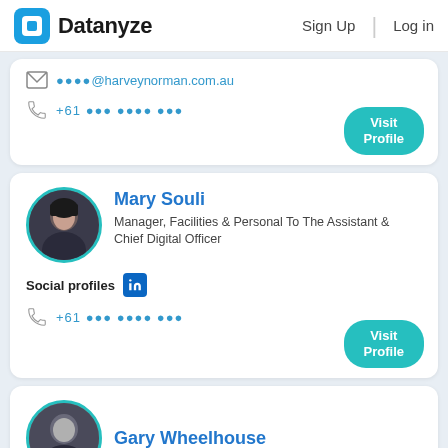Datanyze  Sign Up  Log in
✉ ••••@harveynorman.com.au
📞 +61 ••• •••• •••
Visit Profile
Mary Souli
Manager, Facilities & Personal To The Assistant & Chief Digital Officer
Social profiles [LinkedIn]
+61 ••• •••• •••
Visit Profile
Gary Wheelhouse